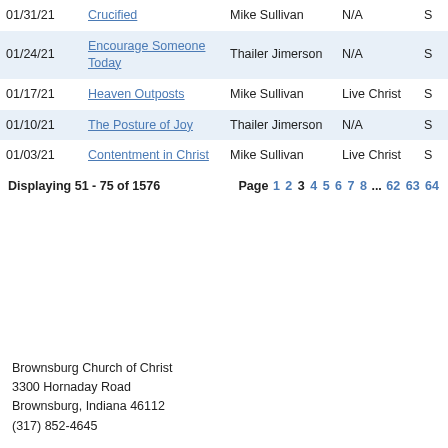| Date | Title | Speaker | Series | Type |
| --- | --- | --- | --- | --- |
| 01/31/21 | Crucified | Mike Sullivan | N/A | S |
| 01/24/21 | Encourage Someone Today | Thailer Jimerson | N/A | S |
| 01/17/21 | Heaven Outposts | Mike Sullivan | Live Christ | S |
| 01/10/21 | The Posture of Joy | Thailer Jimerson | N/A | S |
| 01/03/21 | Contentment in Christ | Mike Sullivan | Live Christ | S |
Displaying 51 - 75 of 1576    Page 1 2 3 4 5 6 7 8 ... 62 63 64
Brownsburg Church of Christ
3300 Hornaday Road
Brownsburg, Indiana 46112
(317) 852-4645